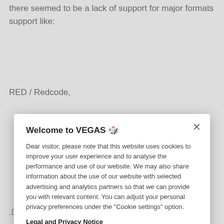there seemed to be a lack of support for major formats support like:
RED / Redcode,
[Figure (screenshot): Cookie consent modal dialog with title 'Welcome to VEGAS 🎲', body text about cookies, Legal and Privacy Notice link, Cookies Settings button, and OK button. Close (×) button in top right corner.]
.DNG Raw - MagicLantern RAW